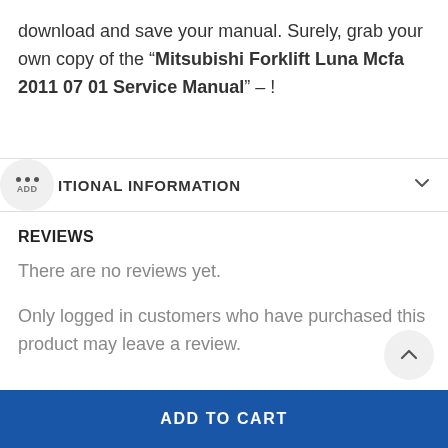download and save your manual. Surely, grab your own copy of the “Mitsubishi Forklift Luna Mcfa 2011 07 01 Service Manual” – !
ADDITIONAL INFORMATION
REVIEWS
There are no reviews yet.
Only logged in customers who have purchased this product may leave a review.